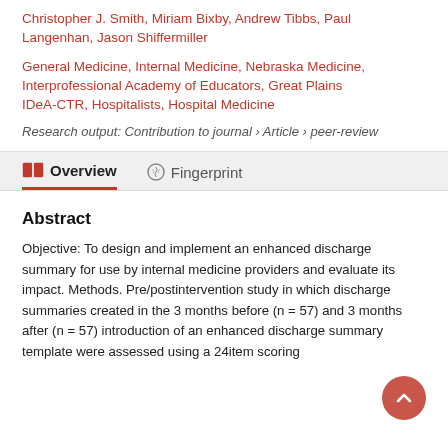Christopher J. Smith, Miriam Bixby, Andrew Tibbs, Paul Langenhan, Jason Shiffermiller
General Medicine, Internal Medicine, Nebraska Medicine, Interprofessional Academy of Educators, Great Plains IDeA-CTR, Hospitalists, Hospital Medicine
Research output: Contribution to journal › Article › peer-review
Overview | Fingerprint
Abstract
Objective: To design and implement an enhanced discharge summary for use by internal medicine providers and evaluate its impact. Methods. Pre/postintervention study in which discharge summaries created in the 3 months before (n = 57) and 3 months after (n = 57) introduction of an enhanced discharge summary template were assessed using a 24item scoring